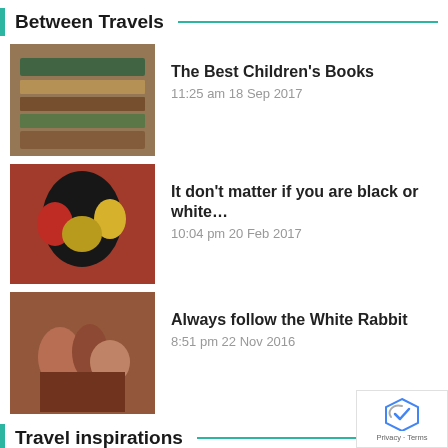Between Travels
The Best Children's Books — 11:25 am 18 Sep 2017
It don't matter if you are black or white… — 10:04 pm 20 Feb 2017
Always follow the White Rabbit — 8:51 pm 22 Nov 2016
Travel inspirations
Bangkok With Kids. Thailand With Family For Beginners.